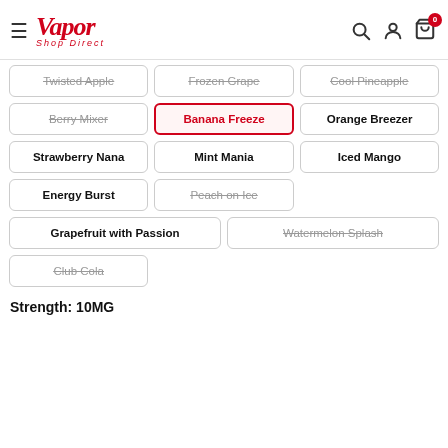Vapor Shop Direct — navigation header
Twisted Apple (strikethrough), Frozen Grape (strikethrough), Cool Pineapple (strikethrough)
Berry Mixer (strikethrough), Banana Freeze (selected), Orange Breezer
Strawberry Nana, Mint Mania, Iced Mango
Energy Burst, Peach on Ice (strikethrough)
Grapefruit with Passion, Watermelon Splash (strikethrough)
Club Cola (strikethrough)
Strength: 10MG